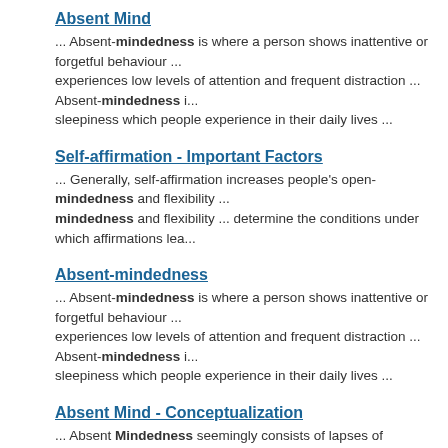Absent Mind
... Absent-mindedness is where a person shows inattentive or forgetful behaviour ... experiences low levels of attention and frequent distraction ... Absent-mindedness i... sleepiness which people experience in their daily lives ...
Self-affirmation - Important Factors
... Generally, self-affirmation increases people's open-mindedness and flexibility ... mindedness and flexibility ... determine the conditions under which affirmations lea...
Absent-mindedness
... Absent-mindedness is where a person shows inattentive or forgetful behaviour ... experiences low levels of attention and frequent distraction ... Absent-mindedness i... sleepiness which people experience in their daily lives ...
Absent Mind - Conceptualization
... Absent Mindedness seemingly consists of lapses of concentration or "zoning out... question was in a state of absent-mindedness ... Absent-mindedness also relates di...